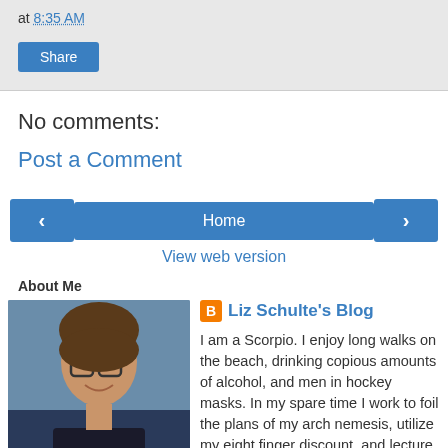at 8:35 AM
Share
No comments:
Post a Comment
< Home >
View web version
About Me
Liz Schulte's Blog
I am a Scorpio. I enjoy long walks on the beach, drinking copious amounts of alcohol, and men in hockey masks. In my spare time I work to foil the plans of my arch nemesis, utilize my eight finger discount, and lecture from my soapbox about social injustices. I do not tolerate fools or like people who make Walmart plural. I judge